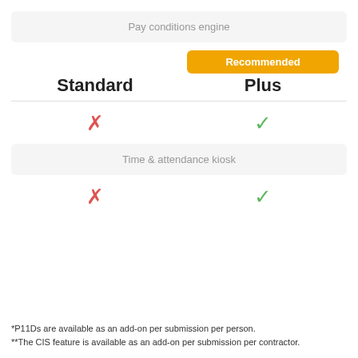Pay conditions engine
Standard
Recommended
Plus
|  | Standard | Plus |
| --- | --- | --- |
| Pay conditions engine | ✗ | ✓ |
| Time & attendance kiosk | ✗ | ✓ |
Time & attendance kiosk
*P11Ds are available as an add-on per submission per person.
**The CIS feature is available as an add-on per submission per contractor.